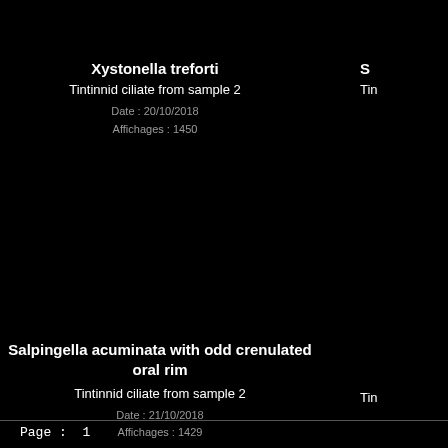Xystonella treforti
Tintinnid ciliate from sample 2
Date : 20/10/2018
Affichages : 1450
S
Tin
Salpingella acuminata with odd crenulated oral rim
Tintinnid ciliate from sample 2
Date : 21/10/2018
Affichages : 1429
Tin
Page : 1